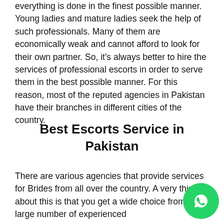everything is done in the finest possible manner. Young ladies and mature ladies seek the help of such professionals. Many of them are economically weak and cannot afford to look for their own partner. So, it's always better to hire the services of professional escorts in order to serve them in the best possible manner. For this reason, most of the reputed agencies in Pakistan have their branches in different cities of the country.
Best Escorts Service in Pakistan
There are various agencies that provide services for Brides from all over the country. A very thing about this is that you get a wide choice from a large number of experienced